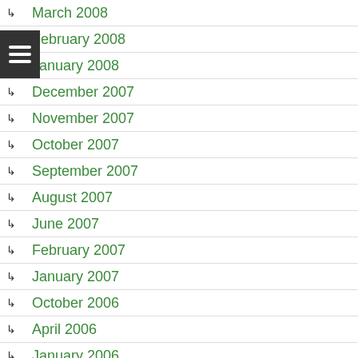March 2008
February 2008
January 2008
December 2007
November 2007
October 2007
September 2007
August 2007
June 2007
February 2007
January 2007
October 2006
April 2006
January 2006
April 2005
December 2004
November 2004
CATEGORIES
About Us
Volunteer Staff Profiles
Advanced Biofuels Call to Action